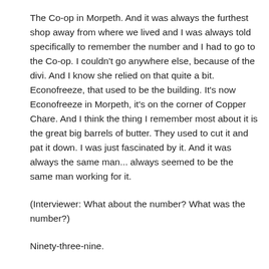The Co-op in Morpeth. And it was always the furthest shop away from where we lived and I was always told specifically to remember the number and I had to go to the Co-op. I couldn't go anywhere else, because of the divi. And I know she relied on that quite a bit. Econofreeze, that used to be the building. It's now Econofreeze in Morpeth, it's on the corner of Copper Chare. And I think the thing I remember most about it is the great big barrels of butter. They used to cut it and pat it down. I was just fascinated by it. And it was always the same man... always seemed to be the same man working for it.
(Interviewer: What about the number? What was the number?)
Ninety-three-nine.